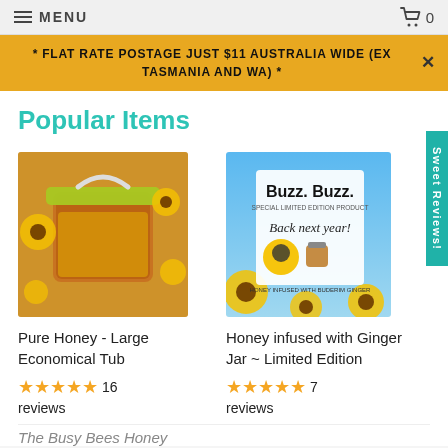≡ MENU   🛒 0
* FLAT RATE POSTAGE JUST $11 AUSTRALIA WIDE (EX TASMANIA AND WA) *
Popular Items
[Figure (photo): A large transparent tub of pure honey with a yellow-green lid and handle, surrounded by sunflowers.]
Pure Honey - Large Economical Tub
★★★★★ 16 reviews
[Figure (photo): Promotional image: 'Buzz. Buzz. Special Limited Edition Product. Back next year!' with a cartoon bee holding a honey jar labeled 'Bee Ginger Honey', sunflowers background, text 'Honey Infused with Buderim Ginger'.]
Honey infused with Ginger Jar ~ Limited Edition
★★★★★ 7 reviews
The Busy Bees Honey
[Figure (other): Sweet Reviews! vertical tab on right side]